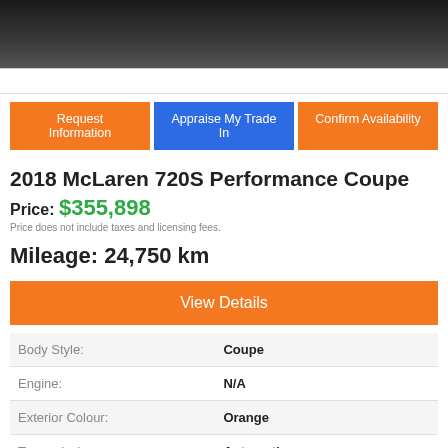[Figure (photo): Dark/black photo bar at top of vehicle listing page]
Request Information | Appraise My Trade In | Confirm Availability
2018 McLaren 720S Performance Coupe
Price: $355,898
Price does not include taxes and licensing fees.
Mileage: 24,750 km
View Details
|  |  |
| --- | --- |
| Body Style: | Coupe |
| Engine: | N/A |
| Exterior Colour: | Orange |
| Transmission: | Automatic |
| Drivetrain: | Other |
| Stock #: | MU3181 |